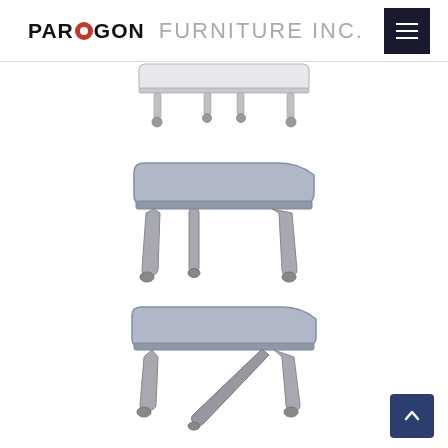PARAGON FURNITURE INC.
[Figure (photo): Top view of a rectangular folding/activity table with casters, white surface, partially cropped at top of page]
[Figure (photo): Side/front view of a trapezoidal activity table with grey surface, metal legs, and casters]
[Figure (photo): Angled/folded view of a trapezoidal activity table with grey surface, folded leg mechanism visible, with casters]